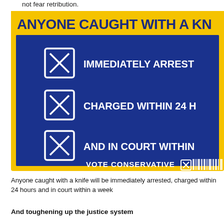not fear retribution.
[Figure (infographic): Conservative Party campaign poster with yellow border and blue background. Large bold text reads 'ANYONE CAUGHT WITH A KN[IFE]'. Three white checkbox icons with X marks list: 'IMMEDIATELY ARREST[ED]', 'CHARGED WITHIN 24 H[OURS]', 'AND IN COURT WITHIN [A WEEK]'. Bottom reads 'VOTE CONSERVATIVE' with an X checkbox icon.]
Anyone caught with a knife will be immediately arrested, charged within 24 hours and in court within a week
And toughening up the justice system